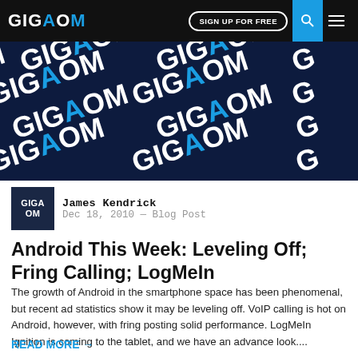GIGAOM — SIGN UP FOR FREE
[Figure (illustration): GigaOM branded hero banner with repeating GIGAOM logo pattern in white and blue on dark navy background]
James Kendrick
Dec 18, 2010 — Blog Post
Android This Week: Leveling Off; Fring Calling; LogMeIn
The growth of Android in the smartphone space has been phenomenal, but recent ad statistics show it may be leveling off. VoIP calling is hot on Android, however, with fring posting solid performance. LogMeIn Ignition is coming to the tablet, and we have an advance look....
READ MORE →